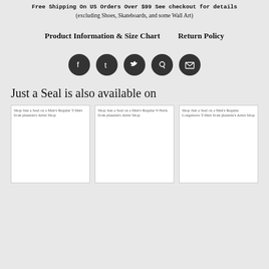Free Shipping On US Orders Over $99 See checkout for details (excluding Shoes, Skateboards, and some Wall Art)
Product Information & Size Chart   Return Policy
[Figure (infographic): Five social media icon buttons (Facebook, Tumblr, Twitter, Pinterest, Email) as dark circular icons in a row]
Just a Seal is also available on
[Figure (screenshot): Three product cards: 'Shop Just a Seal on a Men's Regular T-Shirt from planetiu's Artist Shop', 'Shop Just a Seal on a Men's Regular V-Neck from planetiu's Artist Shop', 'Shop Just a Seal on a Men's Regular Longsleeve T-Shirt from planetiu's Artist Shop']